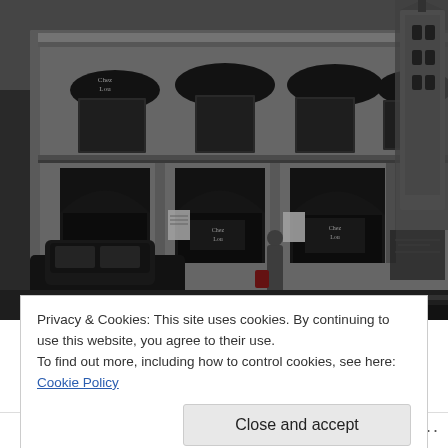[Figure (photo): Exterior photo of a corner restaurant/bar building with dark awnings, arched windows on ground floor, and a Gothic tower visible in the background. A dark car is parked in front. Taken at dusk or overcast conditions giving a dark tone.]
Privacy & Cookies: This site uses cookies. By continuing to use this website, you agree to their use.
To find out more, including how to control cookies, see here: Cookie Policy
Close and accept
Follow ···